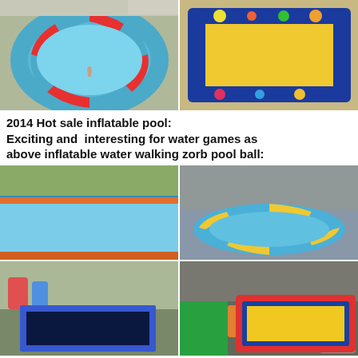[Figure (photo): Aerial view of a large circular inflatable pool with blue and red segments, one person visible inside]
[Figure (photo): Rectangular inflatable pool with yellow interior and colorful blue border printed with cartoon characters]
2014 Hot sale inflatable pool:
Exciting and  interesting for water games as above inflatable water walking zorb pool ball:
[Figure (photo): Blue and orange rectangular inflatable pool seen from ground level outdoors]
[Figure (photo): Circular inflatable pool with blue and yellow segments inside a warehouse]
[Figure (photo): Dark blue rectangular inflatable pool in a workshop/warehouse setting]
[Figure (photo): Large rectangular inflatable pool with yellow interior and red/blue border inside a warehouse]